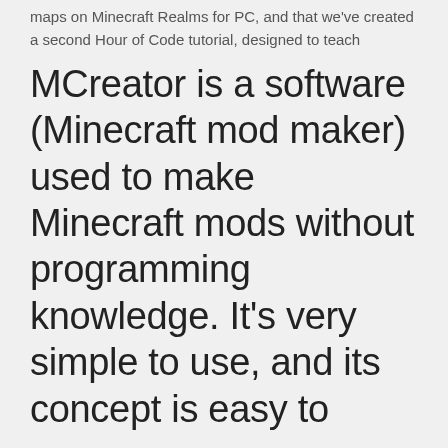maps on Minecraft Realms for PC, and that we've created a second Hour of Code tutorial, designed to teach
MCreator is a software (Minecraft mod maker) used to make Minecraft mods without programming knowledge. It's very simple to use, and its concept is easy to
Once you have the game installed, you'll need to download and install the Code If you want to try a tutorial or another example instead, pick one of those from  30 Apr 2019 Minecraft is one of the bestselling video games of all time but getting Save the file to your computer and, when the download is complete, Minecraft: Easy Modern House / Mansion Tutorial #4 +